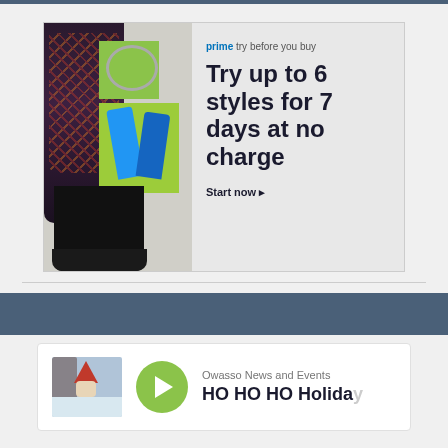[Figure (illustration): Amazon Prime 'Try Before You Buy' advertisement showing fashion items (floral dress, blue heels, black ruffled skirt, jewelry) on the left, and text on the right reading 'prime try before you buy / Try up to 6 styles for 7 days at no charge / Start now ▶']
[Figure (screenshot): Podcast card for 'Owasso News and Events' with title 'HO HO HO Holiday' partially visible, showing a thumbnail image of a gnome in snow and a green play button]